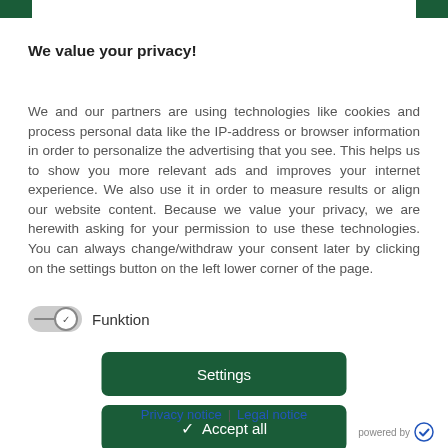We value your privacy!
We and our partners are using technologies like cookies and process personal data like the IP-address or browser information in order to personalize the advertising that you see. This helps us to show you more relevant ads and improves your internet experience. We also use it in order to measure results or align our website content. Because we value your privacy, we are herewith asking for your permission to use these technologies. You can always change/withdraw your consent later by clicking on the settings button on the left lower corner of the page.
Funktion
Settings
✓ Accept all
Privacy notice | Legal notice
powered by